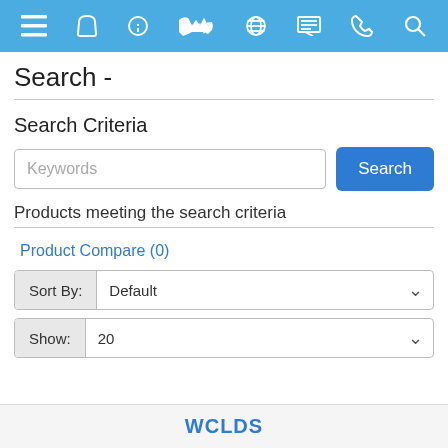Navigation bar with menu, cart, info, logo, globe, display, phone, search icons
Search -
Search Criteria
Keywords [input] Search [button]
Products meeting the search criteria
Product Compare (0)
Sort By: Default
Show: 20
WCLDS